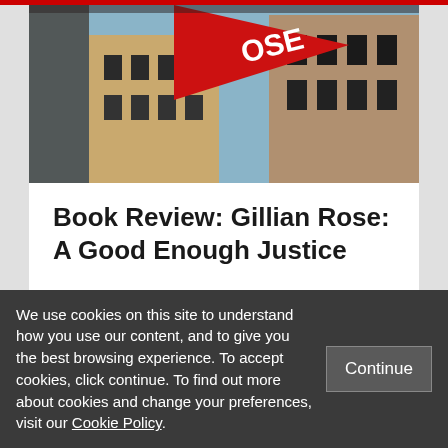[Figure (photo): Exterior photo of a building with a red triangular sign with white text, brick facade and windows visible, shot from a low angle against a blue sky.]
Book Review: Gillian Rose: A Good Enough Justice
SEPTEMBER 1ST, 2013
[Figure (photo): Partial photo strip partially visible below the article card.]
We use cookies on this site to understand how you use our content, and to give you the best browsing experience. To accept cookies, click continue. To find out more about cookies and change your preferences, visit our Cookie Policy.